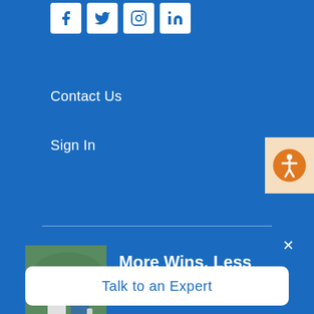[Figure (other): Social media icons: Facebook, Twitter, Instagram, LinkedIn — white squares with blue icons on blue background]
Contact Us
Sign In
[Figure (other): Orange accessibility (wheelchair/person) icon button on cream/peach background, top right corner]
More Wins, Less Work
[Figure (photo): Photo of a child and adult outdoors, the child appears to be holding something and smiling]
Learn more about how digital family engagement can improve your student outcomes and make teaching a little easier.
Talk to an Expert